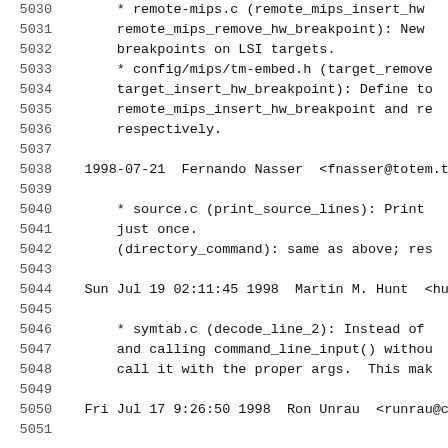5030	* remote-mips.c (remote_mips_insert_hw...
5031	remote_mips_remove_hw_breakpoint): New
5032	breakpoints on LSI targets.
5033	* config/mips/tm-embed.h (target_remove...
5034	target_insert_hw_breakpoint): Define to
5035	remote_mips_insert_hw_breakpoint and re...
5036	respectively.
5037	
5038	1998-07-21  Fernando Nasser  <fnasser@totem.to....
5039	
5040	* source.c (print_source_lines): Print
5041	just once.
5042	(directory_command): same as above; res...
5043	
5044	Sun Jul 19 02:11:45 1998  Martin M. Hunt  <hunt...
5045	
5046	* symtab.c (decode_line_2): Instead of
5047	and calling command_line_input() withou...
5048	call it with the proper args.  This mak...
5049	
5050	Fri Jul 17 9:26:50 1998  Ron Unrau  <runrau@cyg...
5051